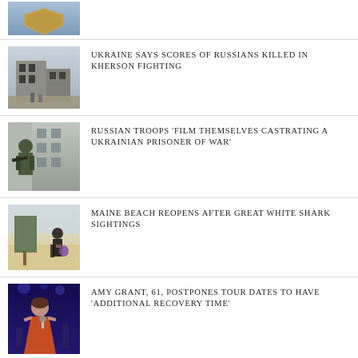[Figure (photo): Shield/badge icon at top]
[Figure (photo): Bombed rubble building with rescue workers]
UKRAINE SAYS SCORES OF RUSSIANS KILLED IN KHERSON FIGHTING
[Figure (photo): Soldier in combat gear near building]
RUSSIAN TROOPS 'FILM THEMSELVES CASTRATING A UKRAINIAN PRISONER OF WAR'
[Figure (photo): Woman on beach near sign]
MAINE BEACH REOPENS AFTER GREAT WHITE SHARK SIGHTINGS
[Figure (photo): Amy Grant performing on stage in orange dress]
AMY GRANT, 61, POSTPONES TOUR DATES TO HAVE 'ADDITIONAL RECOVERY TIME'